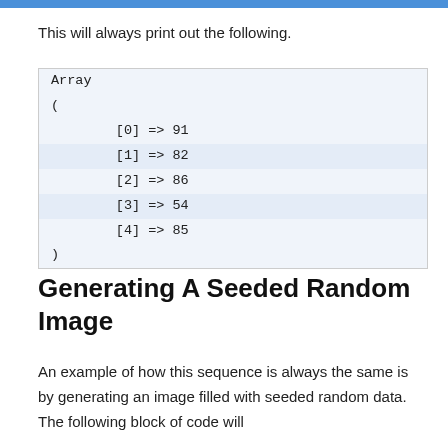This will always print out the following.
[Figure (screenshot): Code block showing PHP array output: Array ( [0] => 91 [1] => 82 [2] => 86 [3] => 54 [4] => 85 )]
Generating A Seeded Random Image
An example of how this sequence is always the same is by generating an image filled with seeded random data. The following block of code will